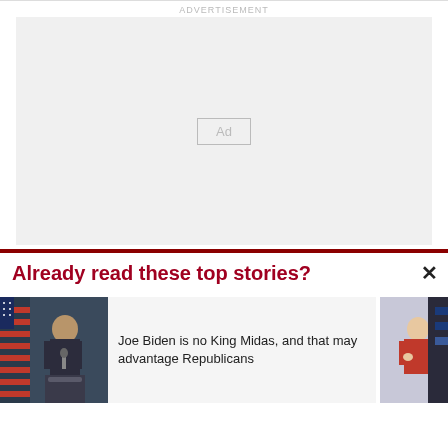ADVERTISEMENT
[Figure (other): Advertisement placeholder box with 'Ad' label in center]
Already read these top stories?
[Figure (photo): Photo of Joe Biden speaking at a podium with American flag in background]
Joe Biden is no King Midas, and that may advantage Republicans
[Figure (photo): Partial photo of a woman in red jacket]